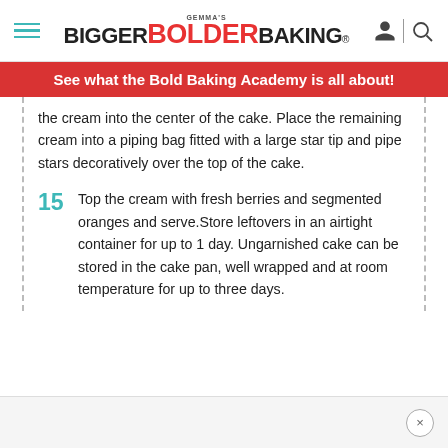GEMMA'S BIGGER BOLDER BAKING®
See what the Bold Baking Academy is all about!
the cream into the center of the cake. Place the remaining cream into a piping bag fitted with a large star tip and pipe stars decoratively over the top of the cake.
15  Top the cream with fresh berries and segmented oranges and serve.Store leftovers in an airtight container for up to 1 day. Ungarnished cake can be stored in the cake pan, well wrapped and at room temperature for up to three days.